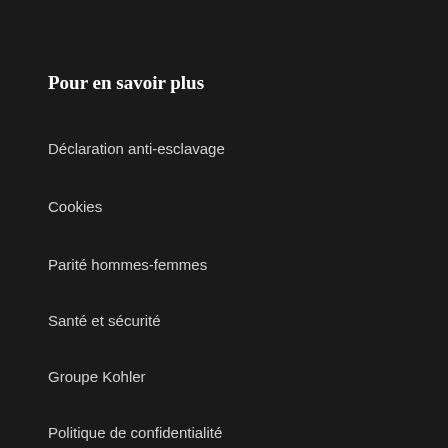Pour en savoir plus
Déclaration anti-esclavage
Cookies
Parité hommes-femmes
Santé et sécurité
Groupe Kohler
Politique de confidentialité
Demande d'accès